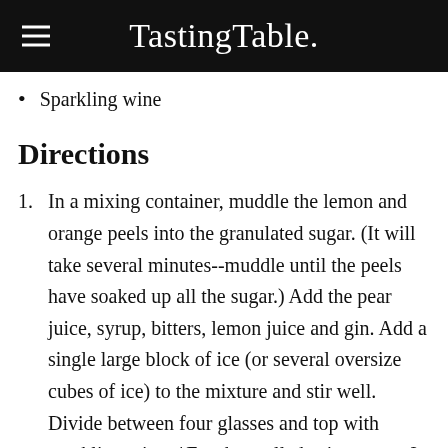TastingTable.
Sparkling wine
Directions
In a mixing container, muddle the lemon and orange peels into the granulated sugar. (It will take several minutes--muddle until the peels have soaked up all the sugar.) Add the pear juice, syrup, bitters, lemon juice and gin. Add a single large block of ice (or several oversize cubes of ice) to the mixture and stir well. Divide between four glasses and top with sparkling wine.  *For the mulled spice syrup: In a